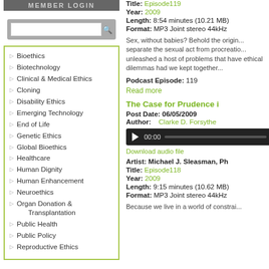[Figure (screenshot): Member login banner (grey background)]
[Figure (screenshot): Search box with magnifying glass icon]
Bioethics
Biotechnology
Clinical & Medical Ethics
Cloning
Disability Ethics
Emerging Technology
End of Life
Genetic Ethics
Global Bioethics
Healthcare
Human Dignity
Human Enhancement
Neuroethics
Organ Donation & Transplantation
Public Health
Public Policy
Reproductive Ethics
Title: Episode119
Year: 2009
Length: 8:54 minutes (10.21 MB)
Format: MP3 Joint stereo 44kHz
Sex, without babies? Behold the origin... separate the sexual act from procreation... unleashed a host of problems that have... ethical dilemmas had we kept together...
Podcast Episode: 119
Read more
The Case for Prudence i
Post Date: 06/05/2009
Author: Clarke D. Forsythe
[Figure (screenshot): Audio player with play button showing 00:00]
Download audio file
Artist: Michael J. Sleasman, Ph
Title: Episode118
Year: 2009
Length: 9:15 minutes (10.62 MB)
Format: MP3 Joint stereo 44kHz
Because we live in a world of constrai...